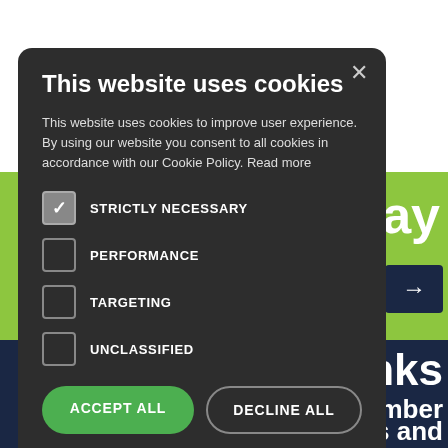[Figure (screenshot): Website background showing a green banner with 'day' text and an arrow button, and a dark navy section with 'Links', 'member', 'and' text visible behind a cookie consent modal.]
This website uses cookies
This website uses cookies to improve user experience. By using our website you consent to all cookies in accordance with our Cookie Policy. Read more
STRICTLY NECESSARY (checked)
PERFORMANCE (unchecked)
TARGETING (unchecked)
UNCLASSIFIED (unchecked)
ACCEPT ALL
DECLINE ALL
SHOW DETAILS